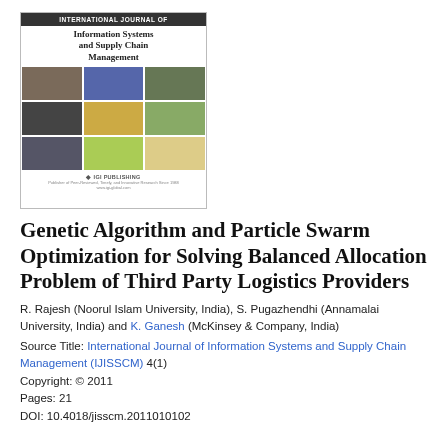[Figure (illustration): Journal cover of International Journal of Information Systems and Supply Chain Management published by IGI Publishing, showing the journal title and a grid of 9 supply chain/logistics images]
Genetic Algorithm and Particle Swarm Optimization for Solving Balanced Allocation Problem of Third Party Logistics Providers
R. Rajesh (Noorul Islam University, India), S. Pugazhendhi (Annamalai University, India) and K. Ganesh (McKinsey & Company, India)
Source Title: International Journal of Information Systems and Supply Chain Management (IJISSCM) 4(1)
Copyright: © 2011
Pages: 21
DOI: 10.4018/jisscm.2011010102